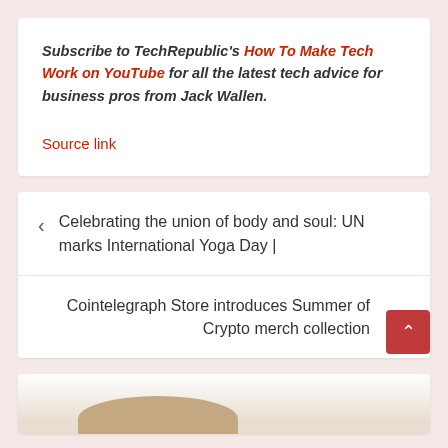Subscribe to TechRepublic's How To Make Tech Work on YouTube for all the latest tech advice for business pros from Jack Wallen.
Source link
Celebrating the union of body and soul: UN marks International Yoga Day |
Cointelegraph Store introduces Summer of Crypto merch collection
[Figure (photo): Partial view of a tan/brown curved object at the bottom of the page, likely a product or illustration cropped at page edge.]